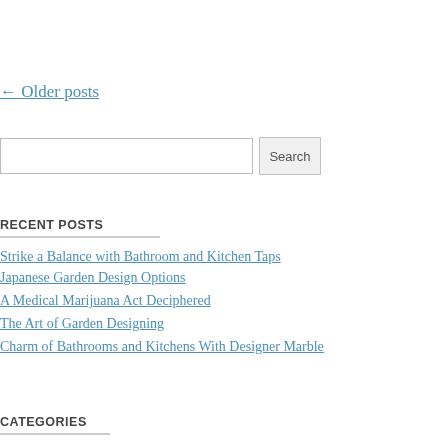← Older posts
Search
RECENT POSTS
Strike a Balance with Bathroom and Kitchen Taps
Japanese Garden Design Options
A Medical Marijuana Act Deciphered
The Art of Garden Designing
Charm of Bathrooms and Kitchens With Designer Marble
CATEGORIES